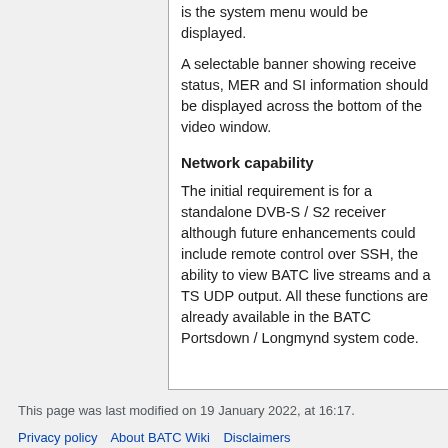is the system menu would be displayed.
A selectable banner showing receive status, MER and SI information should be displayed across the bottom of the video window.
Network capability
The initial requirement is for a standalone DVB-S / S2 receiver although future enhancements could include remote control over SSH, the ability to view BATC live streams and a TS UDP output. All these functions are already available in the BATC Portsdown / Longmynd system code.
This page was last modified on 19 January 2022, at 16:17.
Privacy policy   About BATC Wiki   Disclaimers